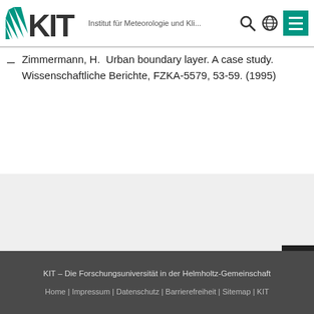KIT – Institut für Meteorologie und Kli...
Zimmermann, H.  Urban boundary layer. A case study. Wissenschaftliche Berichte, FZKA-5579, 53-59. (1995)
letzte Änderung: 01.06.2...
KIT – Die Forschungsuniversität in der Helmholtz-Gemeinschaft
Home | Impressum | Datenschutz | Barrierefreiheit | Sitemap | KIT